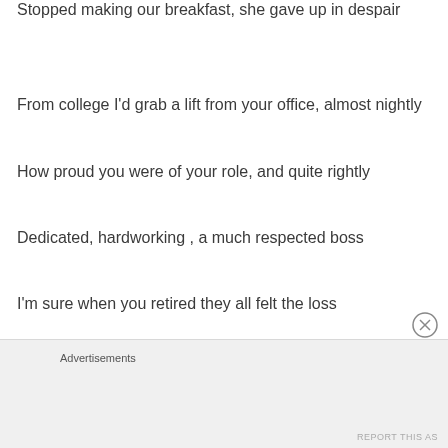Stopped making our breakfast, she gave up in despair
From college I'd grab a lift from your office, almost nightly
How proud you were of your role, and quite rightly
Dedicated, hardworking , a much respected boss
I'm sure when you retired they all felt the loss
Advertisements
REPORT THIS AS